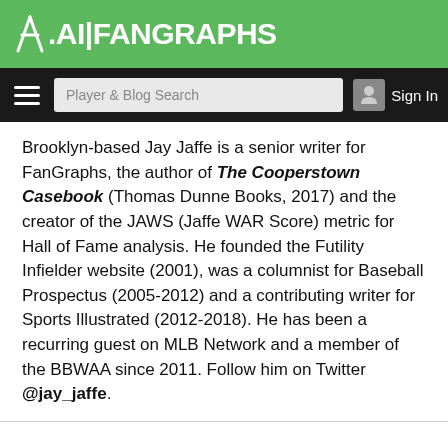FanGraphs
Brooklyn-based Jay Jaffe is a senior writer for FanGraphs, the author of The Cooperstown Casebook (Thomas Dunne Books, 2017) and the creator of the JAWS (Jaffe WAR Score) metric for Hall of Fame analysis. He founded the Futility Infielder website (2001), was a columnist for Baseball Prospectus (2005-2012) and a contributing writer for Sports Illustrated (2012-2018). He has been a recurring guest on MLB Network and a member of the BBWAA since 2011. Follow him on Twitter @jay_jaffe.
149 COMMENTS